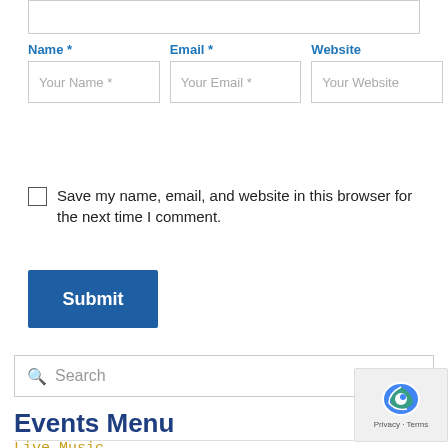[textarea input box - partial, top of page]
Name * Email * Website
Your Name * | Your Email * | Your Website
Save my name, email, and website in this browser for the next time I comment.
Submit
Search
Events Menu
Live Music